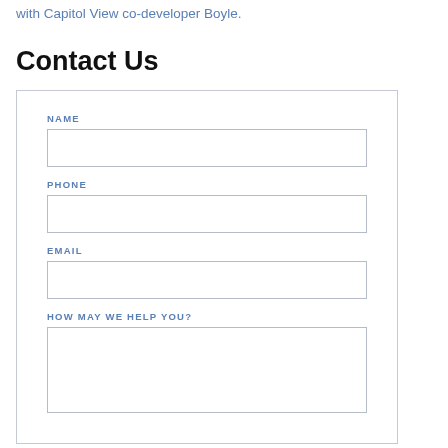with Capitol View co-developer Boyle.
Contact Us
NAME [input field]
PHONE [input field]
EMAIL [input field]
HOW MAY WE HELP YOU? [textarea field]